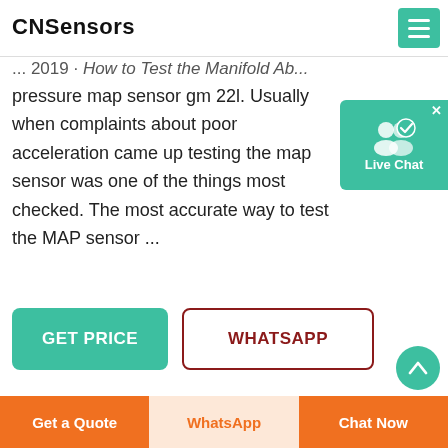CNSensors
it is a sensor that monitors the pressure top ab in the
... 2019 · How to Test the Manifold Ab...
pressure map sensor gm 22l. Usually when complaints about poor acceleration came up testing the map sensor was one of the things most checked. The most accurate way to test the MAP sensor ...
[Figure (screenshot): Live Chat widget with teal background showing two user silhouette icons and a checkmark, labeled 'Live Chat']
GET PRICE
WHATSAPP
[Figure (photo): Product photo of MAP sensor components on light grey background — a cylindrical silver sensor and a black electronic module]
Get a Quote | WhatsApp | Chat Now